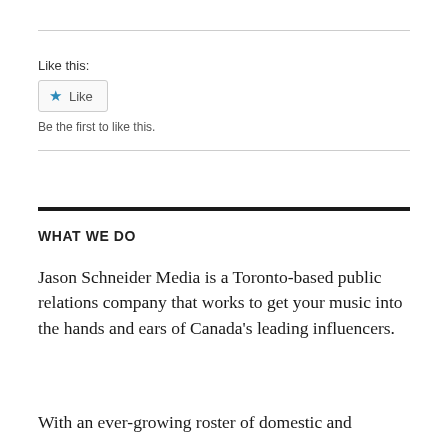Like this:
[Figure (other): WordPress-style Like button with blue star icon and 'Like' text, bordered box]
Be the first to like this.
WHAT WE DO
Jason Schneider Media is a Toronto-based public relations company that works to get your music into the hands and ears of Canada’s leading influencers.
With an ever-growing roster of domestic and